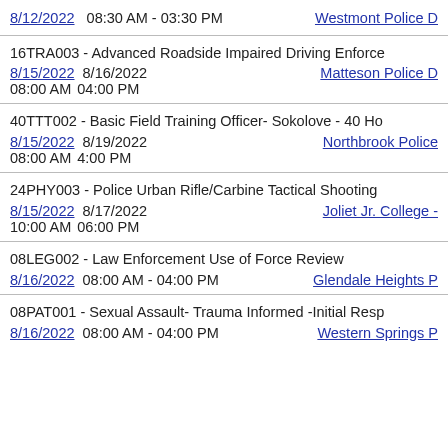8/12/2022  08:30 AM - 03:30 PM  Westmont Police D...
16TRA003 - Advanced Roadside Impaired Driving Enforce...
8/15/2022  8/16/2022  Matteson Police D...
08:00 AM  04:00 PM
40TTT002 - Basic Field Training Officer- Sokolove - 40 Ho...
8/15/2022  8/19/2022  Northbrook Police ...
08:00 AM  4:00 PM
24PHY003 - Police Urban Rifle/Carbine Tactical Shooting...
8/15/2022  8/17/2022  Joliet Jr. College - ...
10:00 AM  06:00 PM
08LEG002 - Law Enforcement Use of Force Review
8/16/2022  08:00 AM - 04:00 PM  Glendale Heights P...
08PAT001 - Sexual Assault- Trauma Informed -Initial Resp...
8/16/2022  08:00 AM - 04:00 PM  Western Springs P...